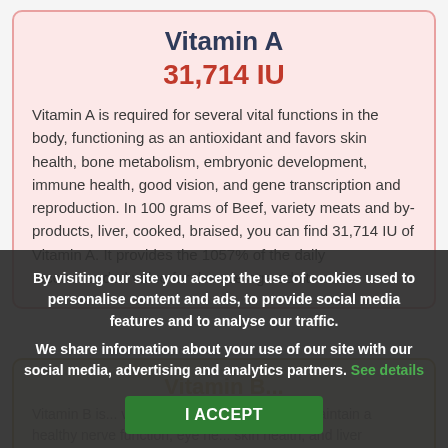Vitamin A
31,714 IU
Vitamin A is required for several vital functions in the body, functioning as an antioxidant and favors skin health, bone metabolism, embryonic development, immune health, good vision, and gene transcription and reproduction. In 100 grams of Beef, variety meats and by-products, liver, cooked, braised, you can find 31,714 IU of Vitamin A. It provides the 1057% of the daily recommended value for the average adult.
Vitamin B...
Vitamin B is... vitamin family. Most known to maintain a healthy nerve function, eye he... skin health, and liver
By visiting our site you accept the use of cookies used to personalise content and ads, to provide social media features and to analyse our traffic. We share information about your use of our site with our social media, advertising and analytics partners. See details
I ACCEPT